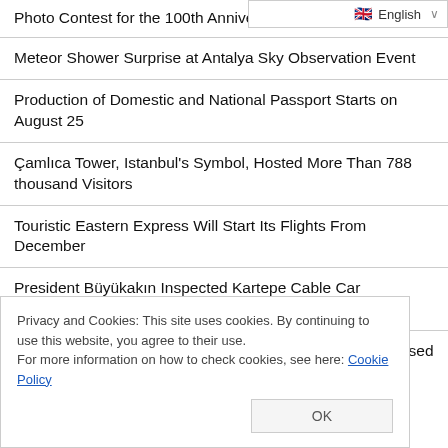🇬🇧 English ∨
Photo Contest for the 100th Annive...
Meteor Shower Surprise at Antalya Sky Observation Event
Production of Domestic and National Passport Starts on August 25
Çamlıca Tower, Istanbul's Symbol, Hosted More Than 788 thousand Visitors
Touristic Eastern Express Will Start Its Flights From December
President Büyükakın Inspected Kartepe Cable Car Construction Onsite
Istanbulites Attention! Hacı Osman Bayırı Street to be Closed to Traffic for 15 Days
Privacy and Cookies: This site uses cookies. By continuing to use this website, you agree to their use.
For more information on how to check cookies, see here: Cookie Policy
OK